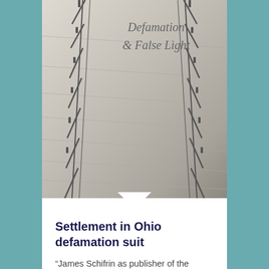[Figure (photo): Black and white photograph of stone courthouse steps with iron railings, with text overlay reading 'Defamation & False Light' in italic serif font]
Settlement in Ohio defamation suit
“James Schifrin as publisher of the Whistleblower Newswire, published an article in my August 1, 2015 Edition that made certain statements and innuendos about Marinka Peschmann that were false and